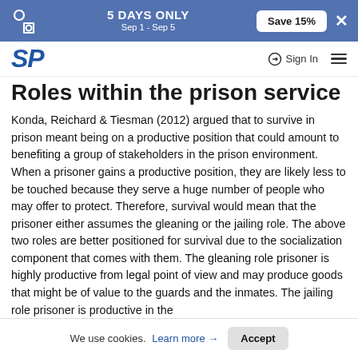5 DAYS ONLY Sep 1 - Sep 5  Save 15%  ×
SP  Sign In
Roles within the prison service
Konda, Reichard & Tiesman (2012) argued that to survive in prison meant being on a productive position that could amount to benefiting a group of stakeholders in the prison environment. When a prisoner gains a productive position, they are likely less to be touched because they serve a huge number of people who may offer to protect. Therefore, survival would mean that the prisoner either assumes the gleaning or the jailing role. The above two roles are better positioned for survival due to the socialization component that comes with them. The gleaning role prisoner is highly productive from legal point of view and may produce goods that might be of value to the guards and the inmates. The jailing role prisoner is productive in the
We use cookies. Learn more → Accept